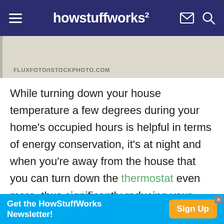howstuffworks
FLUXFOTO/ISTOCKPHOTO.COM
While turning down your house temperature a few degrees during your home's occupied hours is helpful in terms of energy conservation, it's at night and when you're away from the house that you can turn down the thermostat even more, thus significantly reducing your energy bill. HVAC experts estimate that for every degree the thermostat is dialed down, you can save 1-3 percent on your heating or cooling utility bill. How
Get the HowStuffWorks Newsletter! Sign Up